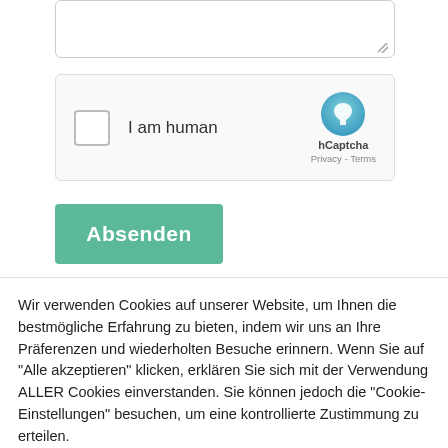[Figure (screenshot): Textarea input box with resize handle in bottom-right corner]
[Figure (screenshot): hCaptcha widget showing a checkbox labeled 'I am human' with hCaptcha logo, Privacy and Terms links]
Absenden
Wir verwenden Cookies auf unserer Website, um Ihnen die bestmögliche Erfahrung zu bieten, indem wir uns an Ihre Präferenzen und wiederholten Besuche erinnern. Wenn Sie auf "Alle akzeptieren" klicken, erklären Sie sich mit der Verwendung ALLER Cookies einverstanden. Sie können jedoch die "Cookie-Einstellungen" besuchen, um eine kontrollierte Zustimmung zu erteilen.
Cookie Settings
Alle akzeptieren